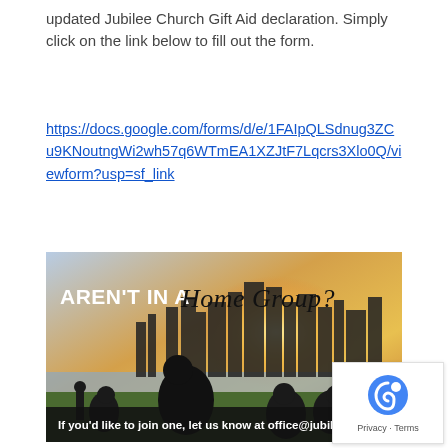updated Jubilee Church Gift Aid declaration. Simply click on the link below to fill out the form.
https://docs.google.com/forms/d/e/1FAIpQLSdnug3ZCu9KNoutngWi2wh57q6WTmEA1XZJtF7Lqcrs3Xlo0Q/viewform?usp=sf_link
[Figure (photo): Banner image with silhouettes of people sitting outdoors against a city skyline at sunset. Text overlay reads 'AREN'T IN A Home Group?' and below 'If you'd like to join one, let us know at office@jubilee.co']